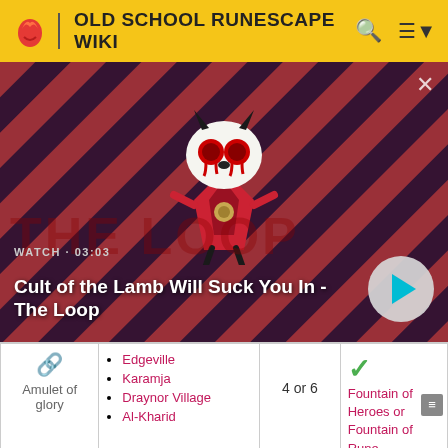OLD SCHOOL RUNESCAPE WIKI
[Figure (screenshot): Video thumbnail showing Cult of the Lamb character on a diagonal stripe background. Title: Cult of the Lamb Will Suck You In - The Loop. Duration: 03:03. Play button visible.]
| Item | Teleport locations | Charges | Rechargeable |
| --- | --- | --- | --- |
| Amulet of glory | Edgeville
Karamja
Draynor Village
Al-Kharid | 4 or 6 | ✓ Fountain of Heroes or Fountain of Rune |